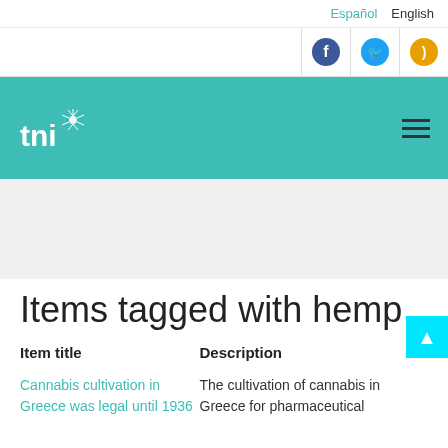Español  English
[Figure (logo): TNI (Transnational Institute) logo: white dandelion graphic above white 'tni' text, on teal background]
Items tagged with hemp
| Item title | Description |
| --- | --- |
| Cannabis cultivation in Greece was legal until 1936 | The cultivation of cannabis in Greece for pharmaceutical |